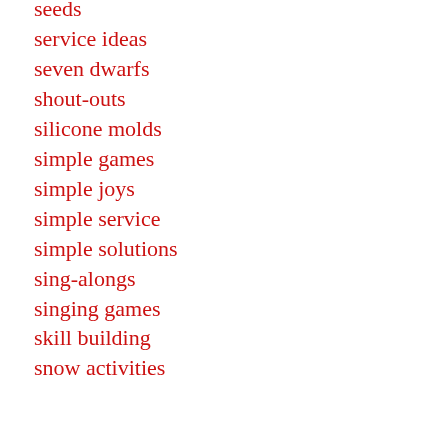seeds
service ideas
seven dwarfs
shout-outs
silicone molds
simple games
simple joys
simple service
simple solutions
sing-alongs
singing games
skill building
snow activities